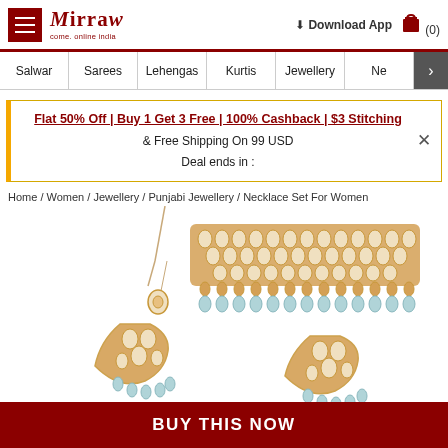Mirraw - come. online india | Download App | (0)
Salwar | Sarees | Lehengas | Kurtis | Jewellery | Ne >
Flat 50% Off | Buy 1 Get 3 Free | 100% Cashback | $3 Stitching & Free Shipping On 99 USD
Deal ends in :
Home / Women / Jewellery / Punjabi Jewellery / Necklace Set For Women
[Figure (photo): Gold-toned kundan choker necklace with light blue bead drops, along with matching chandelier earrings with kundan work and light blue bead tassels, and a maang tikka.]
BUY THIS NOW